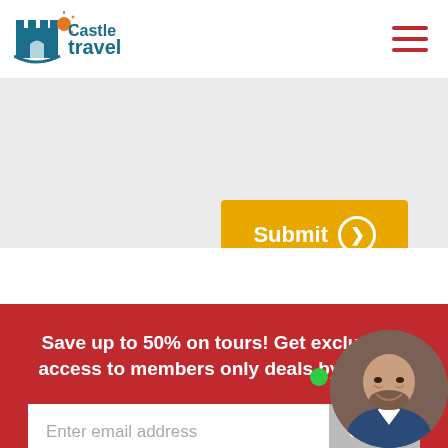[Figure (logo): Castle Travel logo with castle icon in teal/blue and orange sun]
[Figure (other): Hamburger menu icon with three red horizontal lines]
[Figure (other): Yellow Submit button with arrow circle icon]
Save up to 50% on tours! Get exclusive access to members only deals by email.
Enter email address
Subsc...
[Figure (photo): Circular photo of a smiling bald man with beard in a suit, with a green online status dot]